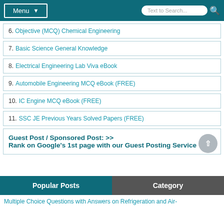Menu | Text to Search...
6. Objective (MCQ) Chemical Engineering
7. Basic Science General Knowledge
8. Electrical Engineering Lab Viva eBook
9. Automobile Engineering MCQ eBook (FREE)
10. IC Engine MCQ eBook (FREE)
11. SSC JE Previous Years Solved Papers (FREE)
Guest Post / Sponsored Post: >>
Rank on Google's 1st page with our Guest Posting Service
Popular Posts | Category
Multiple Choice Questions with Answers on Refrigeration and Air-